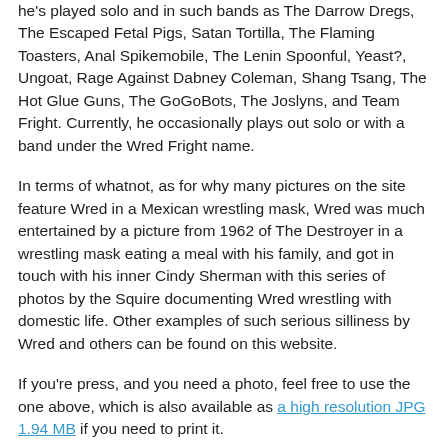he's played solo and in such bands as The Darrow Dregs, The Escaped Fetal Pigs, Satan Tortilla, The Flaming Toasters, Anal Spikemobile, The Lenin Spoonful, Yeast?, Ungoat, Rage Against Dabney Coleman, Shang Tsang, The Hot Glue Guns, The GoGoBots, The Joslyns, and Team Fright. Currently, he occasionally plays out solo or with a band under the Wred Fright name.
In terms of whatnot, as for why many pictures on the site feature Wred in a Mexican wrestling mask, Wred was much entertained by a picture from 1962 of The Destroyer in a wrestling mask eating a meal with his family, and got in touch with his inner Cindy Sherman with this series of photos by the Squire documenting Wred wrestling with domestic life. Other examples of such serious silliness by Wred and others can be found on this website.
If you're press, and you need a photo, feel free to use the one above, which is also available as a high resolution JPG 1.94 MB if you need to print it.
Here's some of what our friends in the press have said about Wred: